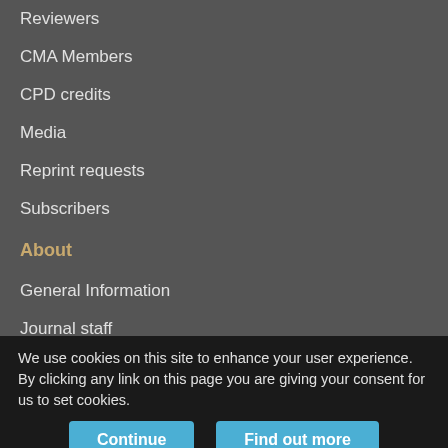Reviewers
CMA Members
CPD credits
Media
Reprint requests
Subscribers
About
General Information
Journal staff
Editorial Board
Advisory Panels
Governance Council
We use cookies on this site to enhance your user experience. By clicking any link on this page you are giving your consent for us to set cookies.